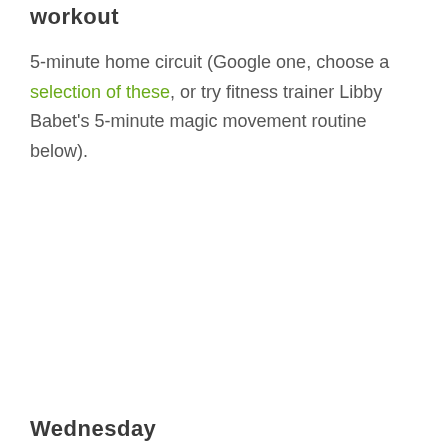workout
5-minute home circuit (Google one, choose a selection of these, or try fitness trainer Libby Babet’s 5-minute magic movement routine below).
Wednesday